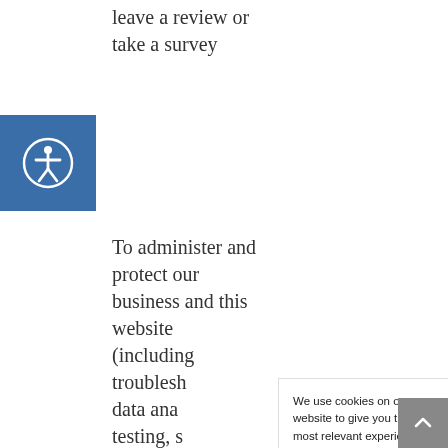leave a review or take a survey
[Figure (illustration): Accessibility icon (person with circle) on blue square background, positioned on left sidebar]
To administer and protect our business and this website (including troubleshooting, data analysis, testing, system maintenance, support, and hosting of data)
We use cookies on our website to give you the most relevant experience by remembering your preferences and repeat visits. By clicking “Accept”, you consent to the use of ALL the cookies.
Privacy Policy   Cookie settings
ACCEPT
[Figure (illustration): Scroll to top button: grey square with upward chevron arrow]